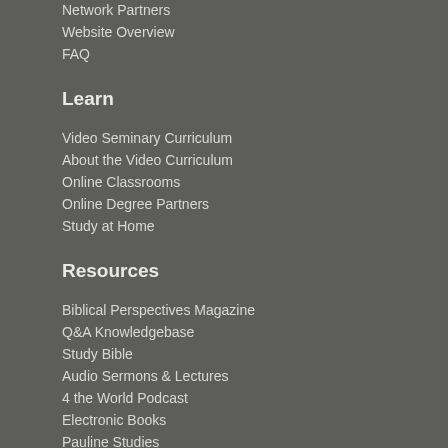Network Partners
Website Overview
FAQ
Learn
Video Seminary Curriculum
About the Video Curriculum
Online Classrooms
Online Degree Partners
Study at Home
Resources
Biblical Perspectives Magazine
Q&A Knowledgebase
Study Bible
Audio Sermons & Lectures
4 the World Podcast
Electronic Books
Pauline Studies
Worship Resources